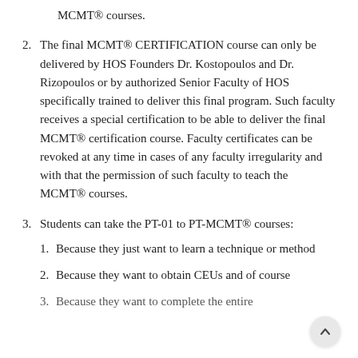MCMT® courses.
2. The final MCMT® CERTIFICATION course can only be delivered by HOS Founders Dr. Kostopoulos and Dr. Rizopoulos or by authorized Senior Faculty of HOS specifically trained to deliver this final program. Such faculty receives a special certification to be able to deliver the final MCMT® certification course. Faculty certificates can be revoked at any time in cases of any faculty irregularity and with that the permission of such faculty to teach the MCMT® courses.
3. Students can take the PT-01 to PT-MCMT® courses:
1. Because they just want to learn a technique or method
2. Because they want to obtain CEUs and of course
3. Because they want to complete the entire